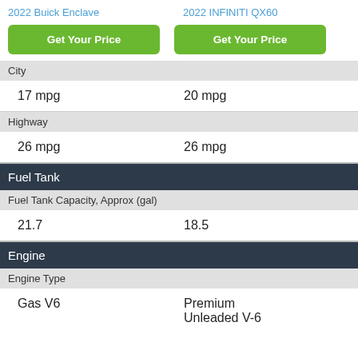2022 Buick Enclave | 2022 INFINITI QX60
Get Your Price | Get Your Price
City
| 2022 Buick Enclave | 2022 INFINITI QX60 |
| --- | --- |
| 17 mpg | 20 mpg |
| 26 mpg | 26 mpg |
Highway
Fuel Tank
Fuel Tank Capacity, Approx (gal)
| 2022 Buick Enclave | 2022 INFINITI QX60 |
| --- | --- |
| 21.7 | 18.5 |
Engine
Engine Type
| 2022 Buick Enclave | 2022 INFINITI QX60 |
| --- | --- |
| Gas V6 | Premium Unleaded V-6 |